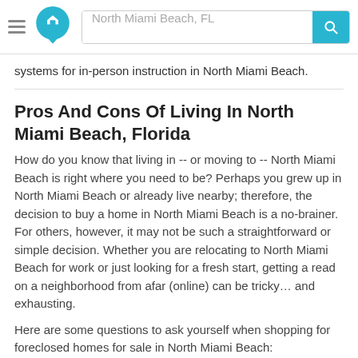North Miami Beach, FL
systems for in-person instruction in North Miami Beach.
Pros And Cons Of Living In North Miami Beach, Florida
How do you know that living in -- or moving to -- North Miami Beach is right where you need to be? Perhaps you grew up in North Miami Beach or already live nearby; therefore, the decision to buy a home in North Miami Beach is a no-brainer. For others, however, it may not be such a straightforward or simple decision. Whether you are relocating to North Miami Beach for work or just looking for a fresh start, getting a read on a neighborhood from afar (online) can be tricky... and exhausting.
Here are some questions to ask yourself when shopping for foreclosed homes for sale in North Miami Beach:
What type of neighborhood environment (suburban, urban, rural, etc.) do you prefer?
What types of shopping (mom and pop, mall, big box), restaurants (fast food, chain, local) and businesses (small...